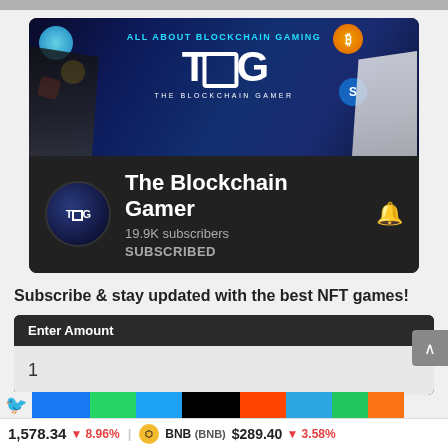[Figure (screenshot): YouTube channel card for 'The Blockchain Gamer' showing banner image with anime characters and blockchain gaming assets, channel avatar with TBG logo, 19.9K subscribers count, and SUBSCRIBED button with bell icon]
Subscribe & stay updated with the best NFT games!
[Figure (screenshot): UI widget with label 'Enter Amount' and an input field showing value '1']
[Figure (screenshot): Social sharing bar with icons for Facebook, WhatsApp, Twitter/X, Reddit, Telegram and other platforms]
1,578.34 ▼ 8.96%   BNB (BNB) $289.40 ▼ 3.58%